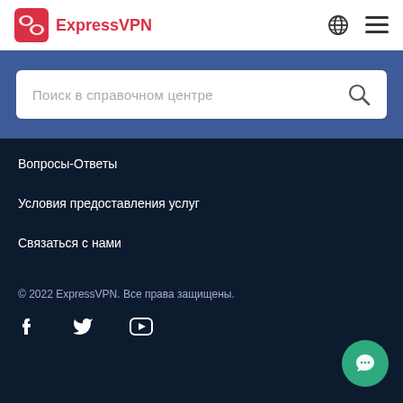ExpressVPN
[Figure (screenshot): Search input box with placeholder text 'Поиск в справочном центре' and a search icon on a blue background]
Вопросы-Ответы
Условия предоставления услуг
Связаться с нами
© 2022 ExpressVPN. Все права защищены.
[Figure (illustration): Social media icons: Facebook, Twitter, YouTube, and a green chat bubble button]